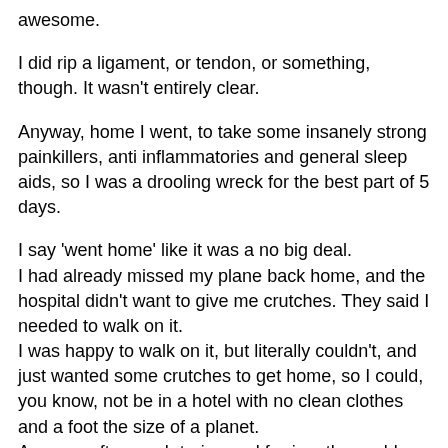awesome.
I did rip a ligament, or tendon, or something, though. It wasn't entirely clear.
Anyway, home I went, to take some insanely strong painkillers, anti inflammatories and general sleep aids, so I was a drooling wreck for the best part of 5 days.
I say 'went home' like it was a no big deal.
I had already missed my plane back home, and the hospital didn't want to give me crutches. They said I needed to walk on it.
I was happy to walk on it, but literally couldn't, and just wanted some crutches to get home, so I could, you know, not be in a hotel with no clean clothes and a foot the size of a planet.
Anyway, after much to-ing and fro-ing, they sold me some crutches and I got to lug myself, and my 5kg laptop around Amsterdam and Schipol, trying to get home.
Moving on, the reason I took the mind-altering drugs instead